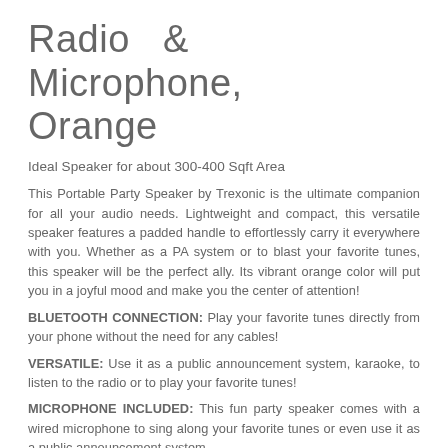Radio & Microphone, Orange
Ideal Speaker for about 300-400 Sqft Area
This Portable Party Speaker by Trexonic is the ultimate companion for all your audio needs. Lightweight and compact, this versatile speaker features a padded handle to effortlessly carry it everywhere with you. Whether as a PA system or to blast your favorite tunes, this speaker will be the perfect ally. Its vibrant orange color will put you in a joyful mood and make you the center of attention!
BLUETOOTH CONNECTION: Play your favorite tunes directly from your phone without the need for any cables!
VERSATILE: Use it as a public announcement system, karaoke, to listen to the radio or to play your favorite tunes!
MICROPHONE INCLUDED: This fun party speaker comes with a wired microphone to sing along your favorite tunes or even use it as a public announcement system.